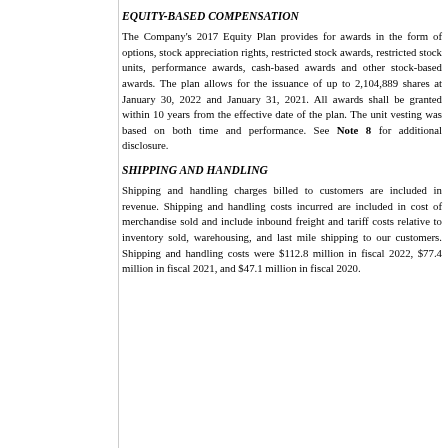EQUITY-BASED COMPENSATION
The Company's 2017 Equity Plan provides for awards in the form of options, stock appreciation rights, restricted stock awards, restricted stock units, performance awards, cash-based awards and other stock-based awards. The plan allows for the issuance of up to 2,104,889 shares at January 30, 2022 and January 31, 2021. All awards shall be granted within 10 years from the effective date of the plan. The unit vesting was based on both time and performance. See Note 8 for additional disclosure.
SHIPPING AND HANDLING
Shipping and handling charges billed to customers are included in revenue. Shipping and handling costs incurred are included in cost of merchandise sold and include inbound freight and tariff costs relative to inventory sold, warehousing, and last mile shipping to our customers. Shipping and handling costs were $112.8 million in fiscal 2022, $77.4 million in fiscal 2021, and $47.1 million in fiscal 2020.